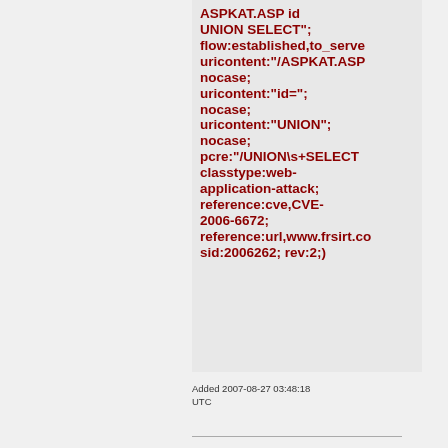ASPKAT.ASP id UNION SELECT"; flow:established,to_server; uricontent:"/ASPKAT.ASP nocase; uricontent:"id="; nocase; uricontent:"UNION"; nocase; pcre:"/UNION\s+SELECT classtype:web-application-attack; reference:cve,CVE-2006-6672; reference:url,www.frsirt.co sid:2006262; rev:2;)
Added 2007-08-27 03:48:18 UTC